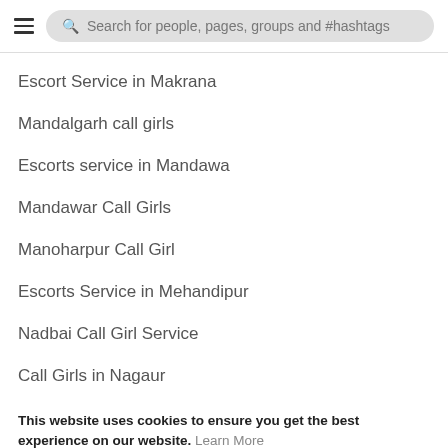Search for people, pages, groups and #hashtags
Escort Service in Makrana
Mandalgarh call girls
Escorts service in Mandawa
Mandawar Call Girls
Manoharpur Call Girl
Escorts Service in Mehandipur
Nadbai Call Girl Service
Call Girls in Nagaur
This website uses cookies to ensure you get the best experience on our website. Learn More
Got It!